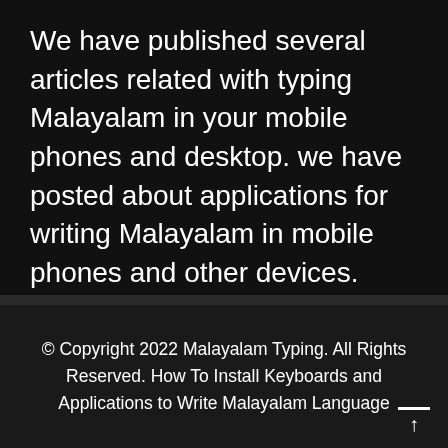We have published several articles related with typing Malayalam in your mobile phones and desktop. we have posted about applications for writing Malayalam in mobile phones and other devices.
© Copyright 2022 Malayalam Typing. All Rights Reserved. How To Install Keyboards and Applications to Write Malayalam Language